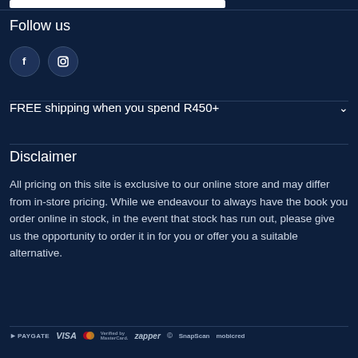[Figure (other): White input box remnant at top of page]
Follow us
[Figure (other): Social media icons: Facebook (f) and Instagram (camera) as circular dark buttons]
FREE shipping when you spend R450+
Disclaimer
All pricing on this site is exclusive to our online store and may differ from in-store pricing. While we endeavour to always have the book you order online in stock, in the event that stock has run out, please give us the opportunity to order it in for you or offer you a suitable alternative.
PAYGATE VISA Verified by MasterCard. zapper SnapScan mobicred